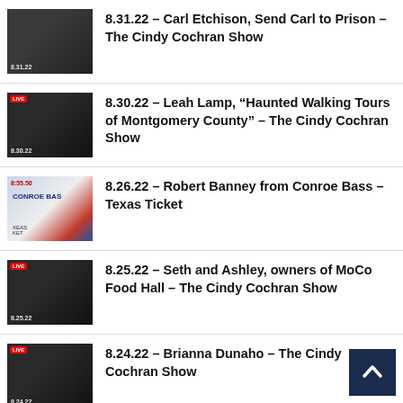8.31.22 – Carl Etchison, Send Carl to Prison – The Cindy Cochran Show
8.30.22 – Leah Lamp, “Haunted Walking Tours of Montgomery County” – The Cindy Cochran Show
8.26.22 – Robert Banney from Conroe Bass – Texas Ticket
8.25.22 – Seth and Ashley, owners of MoCo Food Hall – The Cindy Cochran Show
8.24.22 – Brianna Dunaho – The Cindy Cochran Show